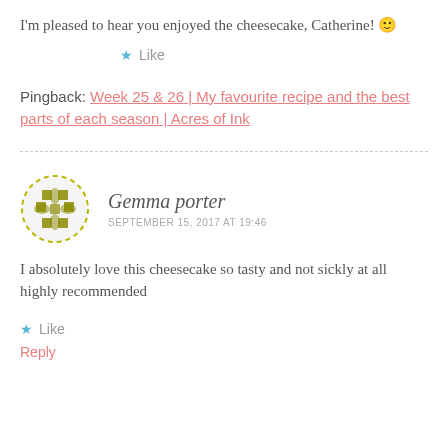I'm pleased to hear you enjoyed the cheesecake, Catherine! 🙂
★ Like
Pingback: Week 25 & 26 | My favourite recipe and the best parts of each season | Acres of Ink
Gemma porter — SEPTEMBER 15, 2017 AT 19:46
I absolutely love this cheesecake so tasty and not sickly at all highly recommended
★ Like
Reply